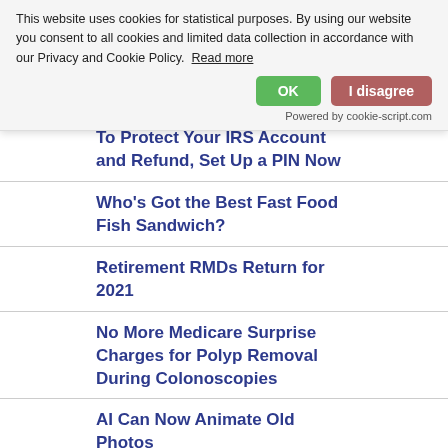1 in 4 Use Work Passwords for Consumer Websites
Where to Start When Creating an Estate Plan
This website uses cookies for statistical purposes. By using our website you consent to all cookies and limited data collection in accordance with our Privacy and Cookie Policy.  Read more
OK
I disagree
Powered by cookie-script.com
To Protect Your IRS Account and Refund, Set Up a PIN Now
Who's Got the Best Fast Food Fish Sandwich?
Retirement RMDs Return for 2021
No More Medicare Surprise Charges for Polyp Removal During Colonoscopies
AI Can Now Animate Old Photos
Top Financial Complaint in